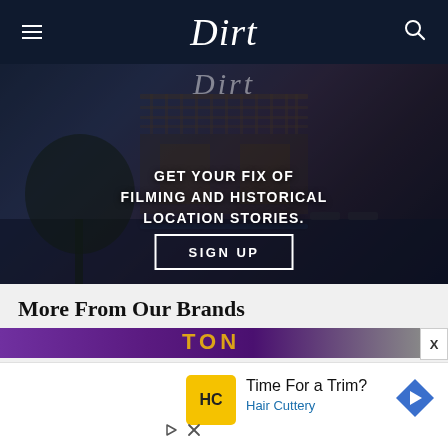Dirt
[Figure (photo): Dark architectural photo of a luxury home with pergola and pool, overlaid with text: GET YOUR FIX OF FILMING AND HISTORICAL LOCATION STORIES. and a SIGN UP button.]
More From Our Brands
[Figure (infographic): Purple banner bar with stylized text]
[Figure (infographic): Advertisement: Hair Cuttery - Time For a Trim? with HC logo and navigation arrow icon]